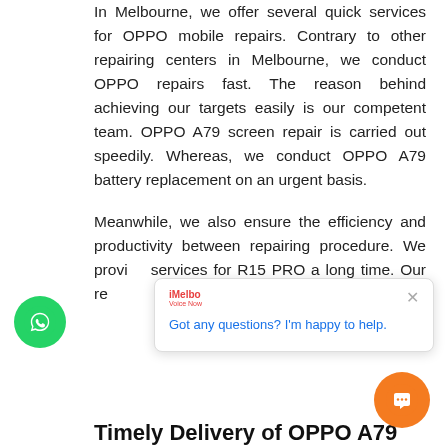In Melbourne, we offer several quick services for OPPO mobile repairs. Contrary to other repairing centers in Melbourne, we conduct OPPO repairs fast. The reason behind achieving our targets easily is our competent team. OPPO A79 screen repair is carried out speedily. Whereas, we conduct OPPO A79 battery replacement on an urgent basis.
Meanwhile, we also ensure the efficiency and productivity between repairing procedure. We provide services for R15 PRO a long time. Our repair tools are more advanced and fast as compare to others.
Timely Delivery of OPPO A79 Repairs